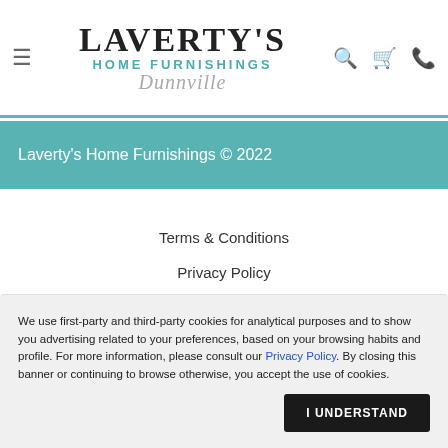[Figure (logo): Laverty's Home Furnishings Dunnville logo with hamburger menu, search, cart, and phone icons]
Laverty's Home Furnishings © 2022
Terms & Conditions
Privacy Policy
We use first-party and third-party cookies for analytical purposes and to show you advertising related to your preferences, based on your browsing habits and profile. For more information, please consult our Privacy Policy. By closing this banner or continuing to browse otherwise, you accept the use of cookies.
I UNDERSTAND